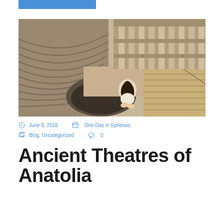[Figure (photo): A woman with dark hair sits on ancient stone steps of a Roman/Greek amphitheatre, looking out over the semicircular orchestra area. The stone seating rows (cavea) curve around the stage area. A multi-storey colonnade facade (scaenae frons) is visible in the background. The site appears to be in Turkey (Anatolia).]
June 6, 2016   One Day in Ephesus
Blog, Uncategorized   0
Ancient Theatres of Anatolia